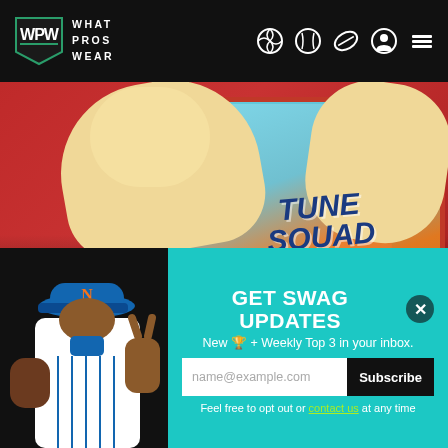WPW - What Pros Wear navigation bar with logo and sport icons
[Figure (photo): Hero image showing Space Jam cartoon character in Tune Squad jersey with red background]
Nike Unveils LeBron 19 Alongside Space Jam Collection
[Figure (photo): Baseball player in New York Mets uniform making peace sign]
GET SWAG UPDATES
New 🏆 + Weekly Top 3 in your inbox.
name@example.com
Subscribe
Feel free to opt out or contact us at any time